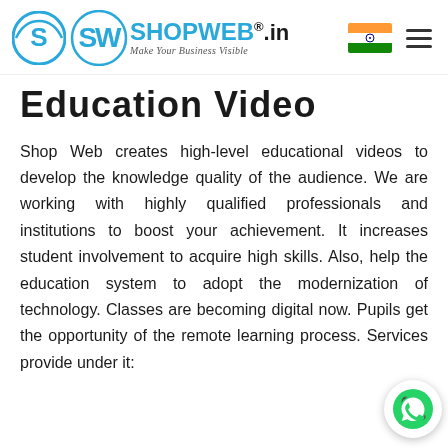SHOPWEB.in — Make Your Business Visible
Education Video
Shop Web creates high-level educational videos to develop the knowledge quality of the audience. We are working with highly qualified professionals and institutions to boost your achievement. It increases student involvement to acquire high skills. Also, help the education system to adopt the modernization of technology. Classes are becoming digital now. Pupils get the opportunity of the remote learning process. Services provide under it: